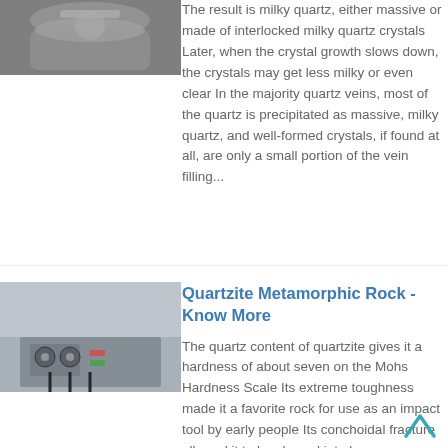[Figure (photo): Partial view of a metallic/glass vessel or container, grayish industrial equipment]
The result is milky quartz, either massive or made of interlocked milky quartz crystals Later, when the crystal growth slows down, the crystals may get less milky or even clear In the majority quartz veins, most of the quartz is precipitated as massive, milky quartz, and well-formed crystals, if found at all, are only a small portion of the vein filling...
[Figure (photo): Industrial equipment with gauges and black hoses attached to a gray metal panel]
Quartzite Metamorphic Rock - Know More
The quartz content of quartzite gives it a hardness of about seven on the Mohs Hardness Scale Its extreme toughness made it a favorite rock for use as an impact tool by early people Its conchoidal fracture allowed it to be shaped into large